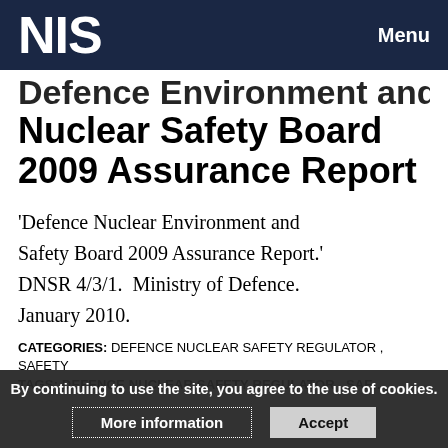NIS   Menu
Defence Environment and Nuclear Safety Board 2009 Assurance Report
'Defence Nuclear Environment and Safety Board 2009 Assurance Report.' DNSR 4/3/1.  Ministry of Defence.  January 2010.
CATEGORIES: DEFENCE NUCLEAR SAFETY REGULATOR , SAFETY
TAGS: DEFENCE NUCLEAR SAFETY REGULATOR , SAF...
By continuing to use the site, you agree to the use of cookies.